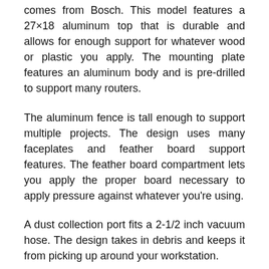comes from Bosch. This model features a 27×18 aluminum top that is durable and allows for enough support for whatever wood or plastic you apply. The mounting plate features an aluminum body and is pre-drilled to support many routers.
The aluminum fence is tall enough to support multiple projects. The design uses many faceplates and feather board support features. The feather board compartment lets you apply the proper board necessary to apply pressure against whatever you're using.
A dust collection port fits a 2-1/2 inch vacuum hose. The design takes in debris and keeps it from picking up around your workstation.